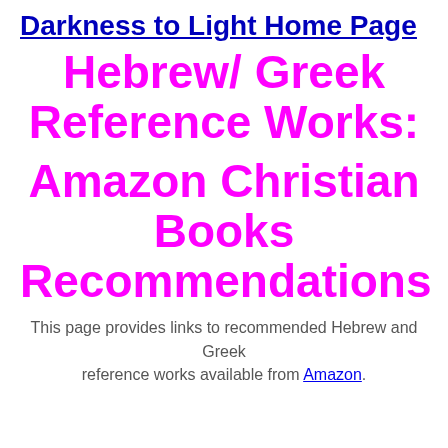Darkness to Light Home Page
Hebrew/ Greek Reference Works: Amazon Christian Books Recommendations
This page provides links to recommended Hebrew and Greek reference works available from Amazon.